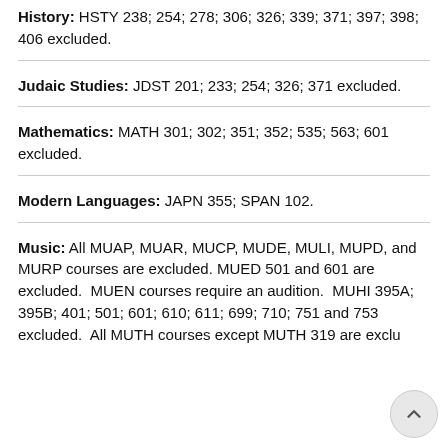History: HSTY 238; 254; 278; 306; 326; 339; 371; 397; 398; 406 excluded.
Judaic Studies: JDST 201; 233; 254; 326; 371 excluded.
Mathematics: MATH 301; 302; 351; 352; 535; 563; 601 excluded.
Modern Languages: JAPN 355; SPAN 102.
Music: All MUAP, MUAR, MUCP, MUDE, MULI, MUPD, and MURP courses are excluded. MUED 501 and 601 are excluded. MUEN courses require an audition. MUHI 395A; 395B; 401; 501; 601; 610; 611; 699; 710; 751 and 753 excluded. All MUTH courses except MUTH 319 are exclu...